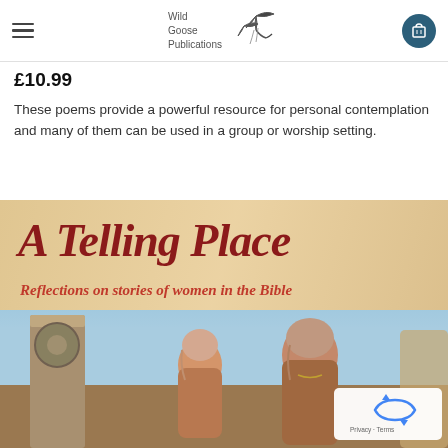Wild Goose Publications
£10.99
These poems provide a powerful resource for personal contemplation and many of them can be used in a group or worship setting.
[Figure (photo): Book cover of 'A Telling Place: Reflections on stories of women in the Bible' published by Wild Goose Publications, showing two women in biblical-era clothing at what appears to be a well, against a sandy/sky background. The title is in large italic dark red serif font, subtitle in smaller italic red text.]